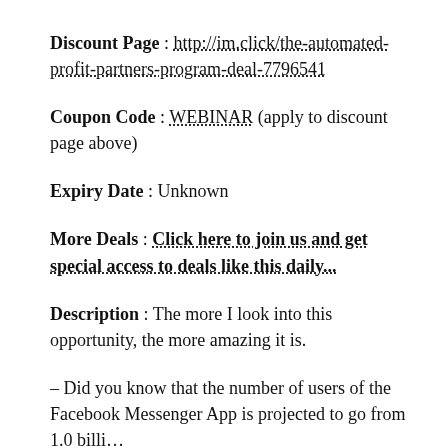Discount Page : http://im.click/the-automated-profit-partners-program-deal-7796541
Coupon Code : WEBINAR (apply to discount page above)
Expiry Date : Unknown
More Deals : Click here to join us and get special access to deals like this daily...
Description : The more I look into this opportunity, the more amazing it is.
– Did you know that the number of users of the Facebook Messenger App is projected to go from 1.0 billion to 2.4 billion in the next 2 years?